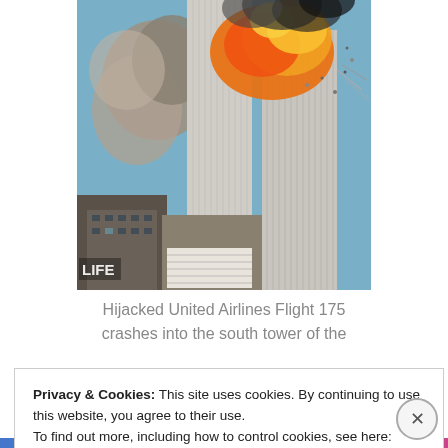[Figure (photo): Photograph showing the World Trade Center south tower being struck by hijacked United Airlines Flight 175, with large explosion, fire, and smoke. Buildings visible below. LIFE magazine watermark in lower left corner.]
Hijacked United Airlines Flight 175 crashes into the south tower of the
Privacy & Cookies: This site uses cookies. By continuing to use this website, you agree to their use. To find out more, including how to control cookies, see here: Cookie Policy
Close and accept